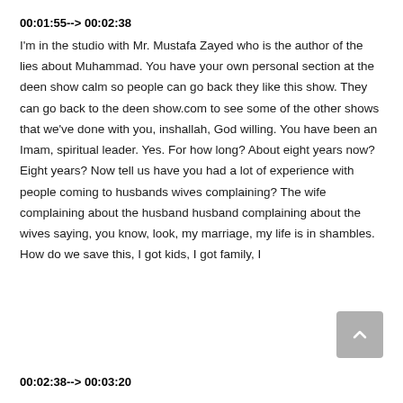00:01:55--> 00:02:38
I'm in the studio with Mr. Mustafa Zayed who is the author of the lies about Muhammad. You have your own personal section at the deen show calm so people can go back they like this show. They can go back to the deen show.com to see some of the other shows that we've done with you, inshallah, God willing. You have been an Imam, spiritual leader. Yes. For how long? About eight years now? Eight years? Now tell us have you had a lot of experience with people coming to husbands wives complaining? The wife complaining about the husband husband complaining about the wives saying, you know, look, my marriage, my life is in shambles. How do we save this, I got kids, I got family, I
00:02:38--> 00:03:20